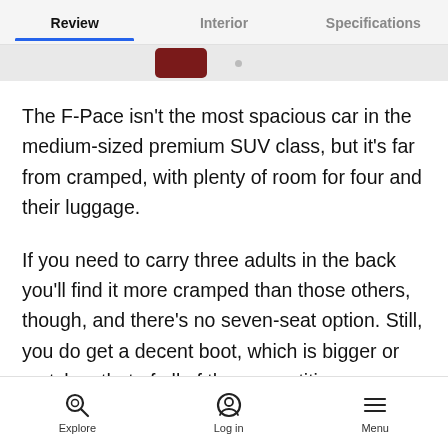Review | Interior | Specifications
The F-Pace isn't the most spacious car in the medium-sized premium SUV class, but it's far from cramped, with plenty of room for four and their luggage.
If you need to carry three adults in the back you'll find it more cramped than those others, though, and there's no seven-seat option. Still, you do get a decent boot, which is bigger or matches that of all of the competition.
Explore | Log in | Menu